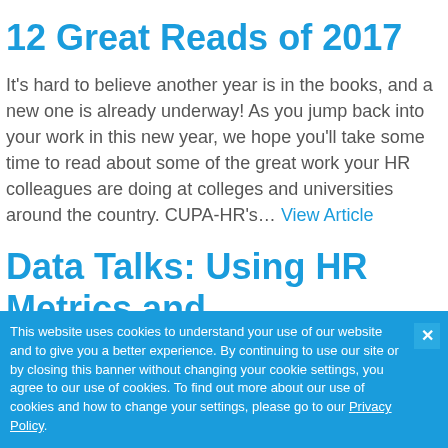12 Great Reads of 2017
It’s hard to believe another year is in the books, and a new one is already underway! As you jump back into your work in this new year, we hope you’ll take some time to read about some of the great work your HR colleagues are doing at colleges and universities around the country. CUPA-HR’s… View Article
Data Talks: Using HR Metrics and Visualizations to
This website uses cookies to understand your use of our website and to give you a better experience. By continuing to use our site or by closing this banner without changing your cookie settings, you agree to our use of cookies. To find out more about our use of cookies and how to change your settings, please go to our Privacy Policy.